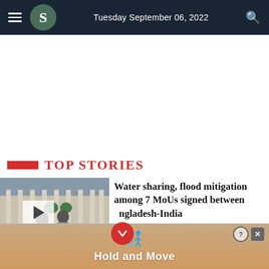Tuesday September 06, 2022
Top Stories
[Figure (photo): Photo of Indian Prime Minister Narendra Modi at a government building with columns, with a video play button overlay]
Water sharing, flood mitigation among 7 MoUs signed between Bangladesh-India
[Figure (illustration): Advertisement banner with animated characters and text Hold and Move]